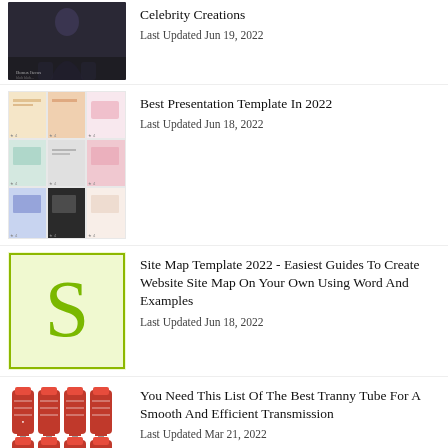[Figure (photo): Dark themed photo of a figure, partially visible]
Celebrity Creations
Last Updated Jun 19, 2022
[Figure (photo): Grid of presentation template thumbnails]
Best Presentation Template In 2022
Last Updated Jun 18, 2022
[Figure (illustration): Green letter S on light green background with green border]
Site Map Template 2022 - Easiest Guides To Create Website Site Map On Your Own Using Word And Examples
Last Updated Jun 18, 2022
[Figure (photo): Grid of red syringe/tube products]
You Need This List Of The Best Tranny Tube For A Smooth And Efficient Transmission
Last Updated Mar 21, 2022